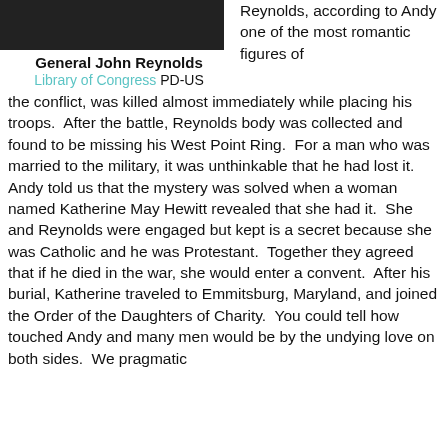[Figure (photo): Black and white photograph of General John Reynolds]
General John Reynolds
Library of Congress PD-US
Reynolds, according to Andy one of the most romantic figures of the conflict, was killed almost immediately while placing his troops.  After the battle, Reynolds body was collected and found to be missing his West Point Ring.  For a man who was married to the military, it was unthinkable that he had lost it.  Andy told us that the mystery was solved when a woman named Katherine May Hewitt revealed that she had it.  She and Reynolds were engaged but kept is a secret because she was Catholic and he was Protestant.  Together they agreed that if he died in the war, she would enter a convent.  After his burial, Katherine traveled to Emmitsburg, Maryland, and joined the Order of the Daughters of Charity.  You could tell how touched Andy and many men would be by the undying love on both sides.  We pragmatic